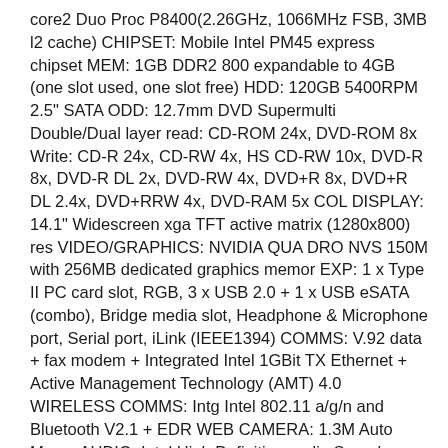core2 Duo Proc P8400(2.26GHz, 1066MHz FSB, 3MB l2 cache) CHIPSET: Mobile Intel PM45 express chipset MEM: 1GB DDR2 800 expandable to 4GB (one slot used, one slot free) HDD: 120GB 5400RPM 2.5" SATA ODD: 12.7mm DVD Supermulti Double/Dual layer read: CD-ROM 24x, DVD-ROM 8x Write: CD-R 24x, CD-RW 4x, HS CD-RW 10x, DVD-R 8x, DVD-R DL 2x, DVD-RW 4x, DVD+R 8x, DVD+R DL 2.4x, DVD+RRW 4x, DVD-RAM 5x COL DISPLAY: 14.1" Widescreen xga TFT active matrix (1280x800) res VIDEO/GRAPHICS: NVIDIA QUA DRO NVS 150M with 256MB dedicated graphics memor EXP: 1 x Type II PC card slot, RGB, 3 x USB 2.0 + 1 x USB eSATA (combo), Bridge media slot, Headphone & Microphone port, Serial port, iLink (IEEE1394) COMMS: V.92 data + fax modem + Integrated Intel 1GBit TX Ethernet + Active Management Technology (AMT) 4.0 WIRELESS COMMS: Intg Intel 802.11 a/g/n and Bluetooth V2.1 + EDR WEB CAMERA: 1.3M Auto Macro AUDIO: Intel High Definition audio Sound SPEAKERS: Stereo speakers PRIMARY BATTERY: 6 cell 5100 mAh Lithium-Ion battery (up to 4 hours) NET DIMENSIONS (W x D x H): 336.8mm / (W...